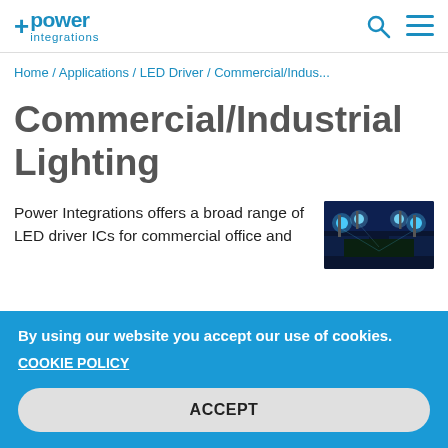power integrations [logo with search and menu icons]
Home / Applications / LED Driver / Commercial/Indus...
Commercial/Industrial Lighting
Power Integrations offers a broad range of LED driver ICs for commercial office and
[Figure (photo): Stadium with bright blue LED floodlights illuminating the field at night]
By using our website you accept our use of cookies.
COOKIE POLICY
ACCEPT